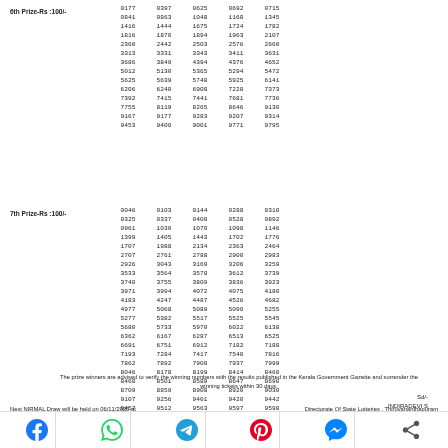6th Prize-Rs :100/-
0177 0397 0625 0692 0715 0841 0863 1048 1168 1345 1416 1444 1675 1724 1782 1816 1870 1894 1963 2107 2360 2442 2503 2576 2660 3313 3331 3343 3411 3631 3686 3849 4394 4376 4652 5012 5130 5365 5294 5472 5625 5639 5748 5925 6141 6206 6240 6908 7228 7373 7392 7415 7441 7681 7736 7755 8119 8265 8646 9130 9167 9177 9283 9207 9314 9453 9400 9001 9771 9795
7th Prize-Rs :100/-
0046 0103 0144 0288 0310 0325 0337 0408 0528 0892 0961 1030 1070 1098 1146 1399 1405 1443 1702 1776 1707 1988 2134 2363 2464 2707 2761 2788 2900 2983 2926 3043 3169 3206 3259 3533 3564 3578 3612 3739 3740 3755 3809 3836 3923 3971 3994 4072 4075 4180 4183 4247 4487 4526 4682 4977 5068 5089 5090 5255 5277 5382 5517 5525 5545 5680 5733 5970 6022 6138 6362 6167 6287 6513 6525 6691 6751 6912 7182 7188 7193 7284 7417 7540 7816 7862 7892 7908 7937 7999 8046 8178 8199 8414 8460 8468 8501 8589 8647 8690 8709 8859 8908 8920 9030 9107 9256 9401 9420 9442 9457 9512 9563 9597 9598 9610 9699 9790 9875 9883
The prize winners are advised to verify the winning numbers with the results published in the Kerala Government Gazette and surrender the winning tickets within 30 days.
Sd/-
INDIRADEVI S
Deputy Director
Next NIRMAL Draw will be held on 06/11/2020 at
Directorate Of State Lotteries , Thiruvananthapuram